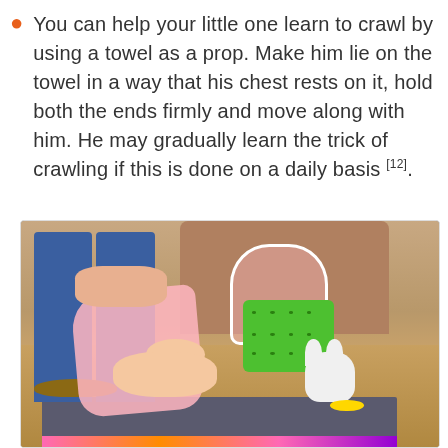You can help your little one learn to crawl by using a towel as a prop. Make him lie on the towel in a way that his chest rests on it, hold both the ends firmly and move along with him. He may gradually learn the trick of crawling if this is done on a daily basis [12].
[Figure (photo): A baby lying on a pink towel/sling held by an adult wearing jeans and sandals, practicing crawling on a yoga mat on a hardwood floor, with a green toy basket and a toy bunny rabbit nearby.]